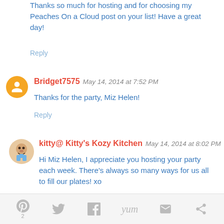Thanks so much for hosting and for choosing my Peaches On a Cloud post on your list! Have a great day!
Reply
Bridget7575  May 14, 2014 at 7:52 PM
Thanks for the party, Miz Helen!
Reply
kitty@ Kitty's Kozy Kitchen  May 14, 2014 at 8:02 PM
Hi Miz Helen, I appreciate you hosting your party each week. There's always so many ways for us all to fill our plates! xo
Reply
Unknown  May 14, 2014 at 8:03 PM
Pinterest Twitter Facebook Yum Email Other  2